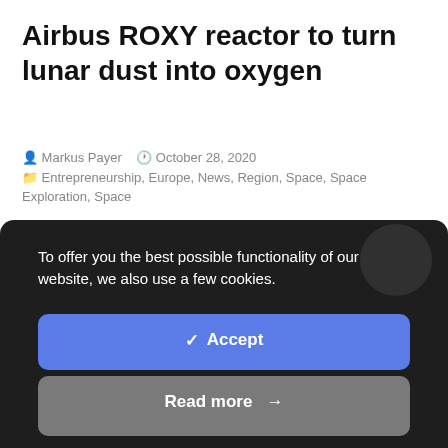Airbus ROXY reactor to turn lunar dust into oxygen
Markus Payer  October 28, 2020
Entrepreneurship, Europe, News, Region, Space, Space Exploration, Space
To offer you the best possible functionality of our website, we also use a few cookies.
✓  Accept
Read more  →
Cookies Settings  ⚙